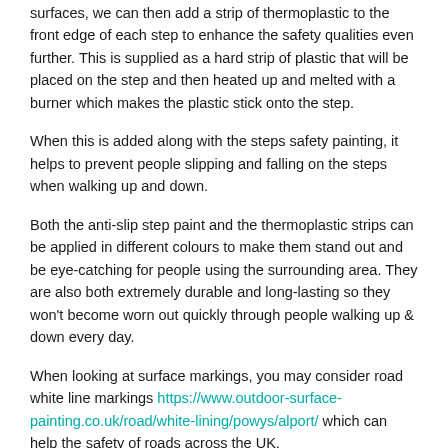surfaces, we can then add a strip of thermoplastic to the front edge of each step to enhance the safety qualities even further. This is supplied as a hard strip of plastic that will be placed on the step and then heated up and melted with a burner which makes the plastic stick onto the step.
When this is added along with the steps safety painting, it helps to prevent people slipping and falling on the steps when walking up and down.
Both the anti-slip step paint and the thermoplastic strips can be applied in different colours to make them stand out and be eye-catching for people using the surrounding area. They are also both extremely durable and long-lasting so they won't become worn out quickly through people walking up & down every day.
When looking at surface markings, you may consider road white line markings https://www.outdoor-surface-painting.co.uk/road/white-lining/powys/alport/ which can help the safety of roads across the UK.
Thermoplastic Steps Near Me